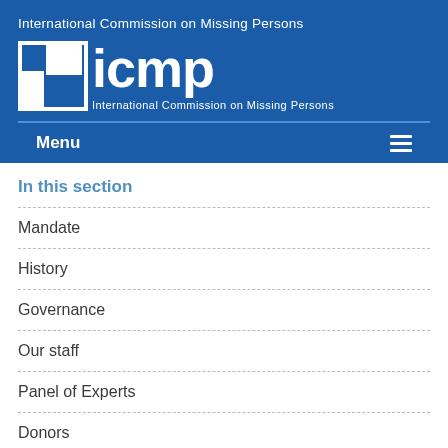International Commission on Missing Persons
[Figure (logo): ICMP logo with square bracket icon and text 'icmp' with full name 'International Commission on Missing Persons' below]
Menu
In this section
Mandate
History
Governance
Our staff
Panel of Experts
Donors